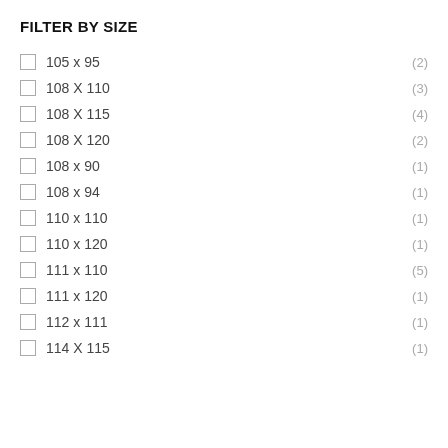FILTER BY SIZE
105 x 95 (2)
108 X 110 (3)
108 X 115 (4)
108 X 120 (2)
108 x 90 (1)
108 x 94 (1)
110 x 110 (1)
110 x 120 (1)
111 x 110 (5)
111 x 120 (1)
112 x 111 (1)
114 X 115 (1)